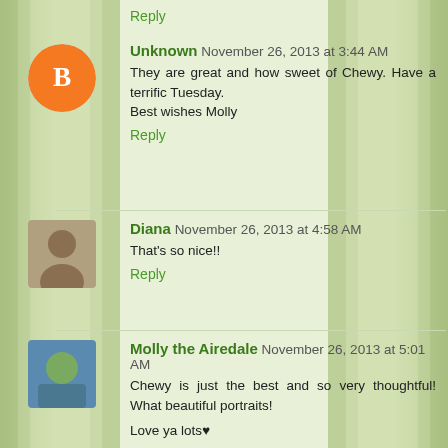Reply
Unknown November 26, 2013 at 3:44 AM
They are great and how sweet of Chewy. Have a terrific Tuesday.
Best wishes Molly
Reply
Diana November 26, 2013 at 4:58 AM
That's so nice!!
Reply
Molly the Airedale November 26, 2013 at 5:01 AM
Chewy is just the best and so very thoughtful! What beautiful portraits!
Love ya lots♥